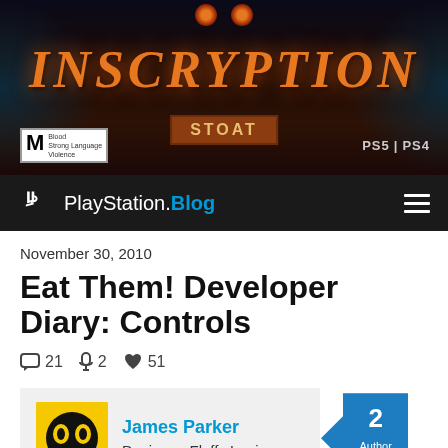[Figure (illustration): Inscryption game banner with dark fantasy artwork, orange glowing title text INSCRYPTION, ESRB M rating badge, STOAT sign in center, PS5 and PS4 platform logos on right]
PlayStation.Blog
November 30, 2010
Eat Them! Developer Diary: Controls
21 comments  2 podcasts  51 likes
James Parker
Designer, Fluffy Logic
2 Author Replies